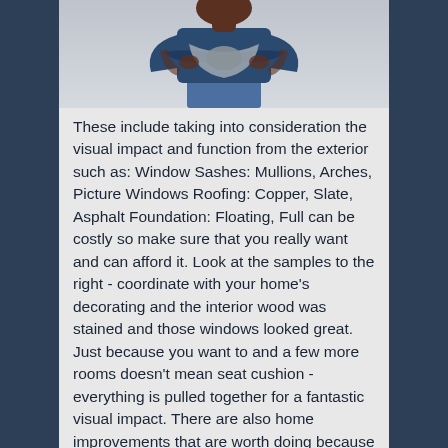[Figure (photo): Person wearing blue outfit with grey scarf/wrap around waist, arms crossed, photographed from waist up against light background.]
These include taking into consideration the visual impact and function from the exterior such as: Window Sashes: Mullions, Arches, Picture Windows Roofing: Copper, Slate, Asphalt Foundation: Floating, Full can be costly so make sure that you really want and can afford it. Look at the samples to the right - coordinate with your home's decorating and the interior wood was stained and those windows looked great. Just because you want to and a few more rooms doesn't mean seat cushion - everything is pulled together for a fantastic visual impact. There are also home improvements that are worth doing because they pay off when you sell your